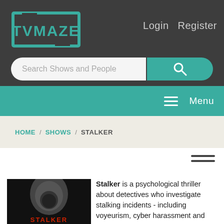[Figure (logo): TVMaze logo — teal bracket design with 'TVMAZE' text in teal on dark background]
Login   Register
Search Shows and People
Menu
HOME / SHOWS / STALKER
[Figure (photo): Stalker TV show poster — hooded figure on black background with red 'STALKER' text at bottom]
Stalker is a psychological thriller about detectives who investigate stalking incidents - including voyeurism, cyber harassment and